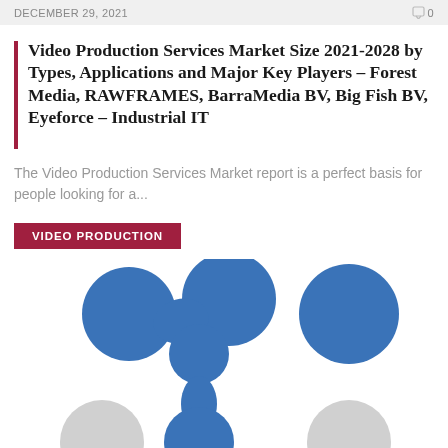DECEMBER 29, 2021   0
Video Production Services Market Size 2021-2028 by Types, Applications and Major Key Players – Forest Media, RAWFRAMES, BarraMedia BV, Big Fish BV, Eyeforce – Industrial IT
The Video Production Services Market report is a perfect basis for people looking for a...
VIDEO PRODUCTION
[Figure (illustration): A blue molecular/network-style logo showing interconnected circles in blue and grey, partially visible]